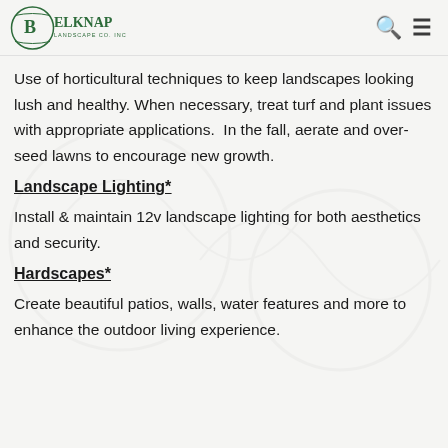Belknap Landscape Co. Inc
Use of horticultural techniques to keep landscapes looking lush and healthy. When necessary, treat turf and plant issues with appropriate applications.  In the fall, aerate and over-seed lawns to encourage new growth.
Landscape Lighting*
Install & maintain 12v landscape lighting for both aesthetics and security.
Hardscapes*
Create beautiful patios, walls, water features and more to enhance the outdoor living experience.